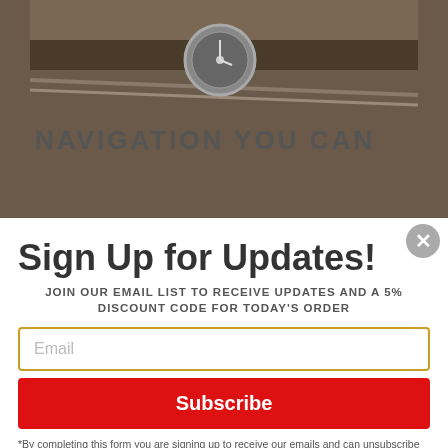[Figure (photo): Close-up photo of a watch with rope/navigation equipment on a brown/earthy background]
NAVIGATION YOU CAN
Sign Up for Updates!
JOIN OUR EMAIL LIST TO RECEIVE UPDATES AND A 5% DISCOUNT CODE FOR TODAY'S ORDER
Email
Subscribe
*By completing this form you are signing up to receive our emails and can unsubscribe at any time.